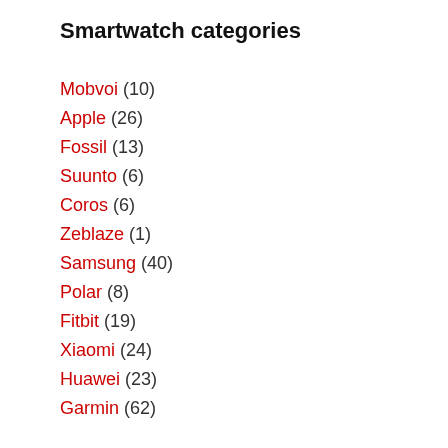Smartwatch categories
Mobvoi (10)
Apple (26)
Fossil (13)
Suunto (6)
Coros (6)
Zeblaze (1)
Samsung (40)
Polar (8)
Fitbit (19)
Xiaomi (24)
Huawei (23)
Garmin (62)